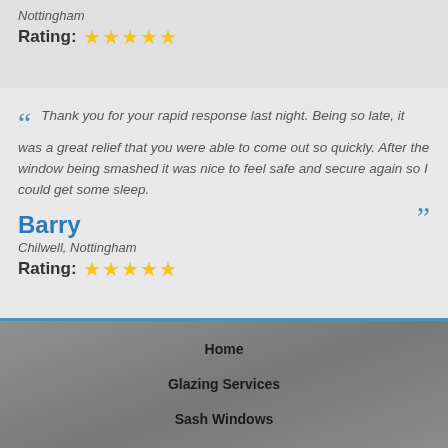Nottingham
Rating: ★★★★★
Thank you for your rapid response last night. Being so late, it was a great relief that you were able to come out so quickly. After the window being smashed it was nice to feel safe and secure again so I could get some sleep.
Barry
Chilwell, Nottingham
Rating: ★★★★★
Home
Glazing Services
Sash Windows
Stained Glass
Contact
© Bennett Glass Repair 2022